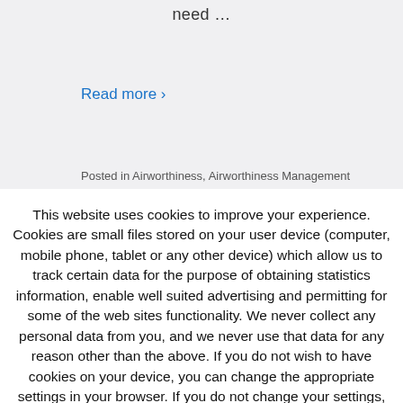need …
Read more ›
Posted in Airworthiness, Airworthiness Management
This website uses cookies to improve your experience. Cookies are small files stored on your user device (computer, mobile phone, tablet or any other device) which allow us to track certain data for the purpose of obtaining statistics information, enable well suited advertising and permitting for some of the web sites functionality. We never collect any personal data from you, and we never use that data for any reason other than the above. If you do not wish to have cookies on your device, you can change the appropriate settings in your browser. If you do not change your settings, we assume that you're OK with accepting cookies. Please also take a look at my privacy policy, which contains a chapter on my cookie policy.
Accept
Privacy Policy